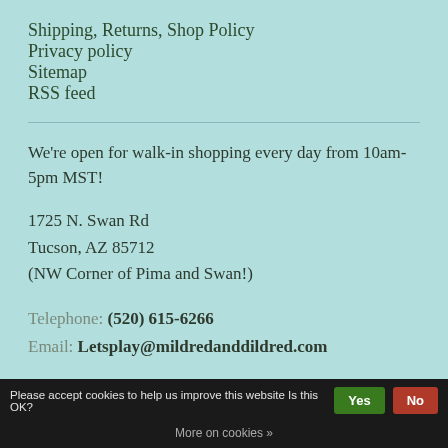Shipping, Returns, Shop Policy
Privacy policy
Sitemap
RSS feed
We're open for walk-in shopping every day from 10am-5pm MST!
1725 N. Swan Rd
Tucson, AZ 85712
(NW Corner of Pima and Swan!)
Telephone: (520) 615-6266
Email: Letsplay@mildredanddildred.com
Please accept cookies to help us improve this website Is this OK? Yes No
More on cookies »